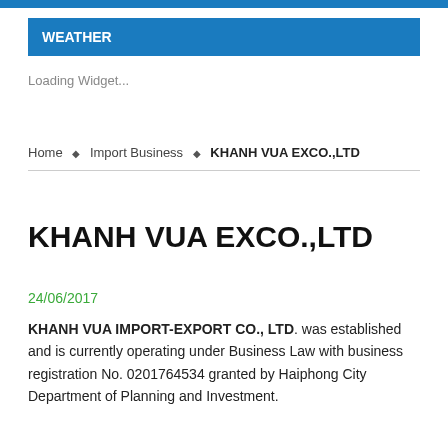WEATHER
Loading Widget...
Home ◆ Import Business ◆ KHANH VUA EXCO.,LTD
KHANH VUA EXCO.,LTD
24/06/2017
KHANH VUA IMPORT-EXPORT CO., LTD. was established and is currently operating under Business Law with business registration No. 0201764534 granted by Haiphong City Department of Planning and Investment.